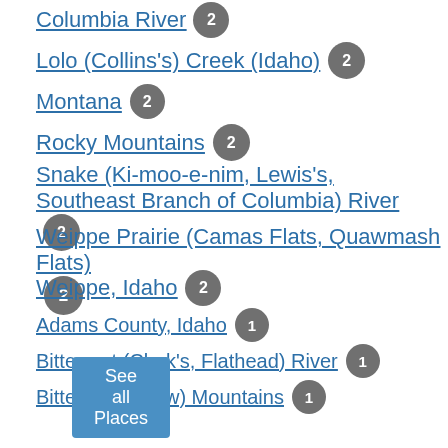Columbia River 2
Lolo (Collins's) Creek (Idaho) 2
Montana 2
Rocky Mountains 2
Snake (Ki-moo-e-nim, Lewis's, Southeast Branch of Columbia) River 2
Weippe Prairie (Camas Flats, Quawmash Flats) 2
Weippe, Idaho 2
Adams County, Idaho 1
Bitterroot (Clark's, Flathead) River 1
Bitterroot (Snow) Mountains 1
Blue (Southwest, Southeast) Mountains 1
Brown's Ridge 1
Camas Prairie 1
Canada 1
Canoe Camp (Idaho) 1
See all Places